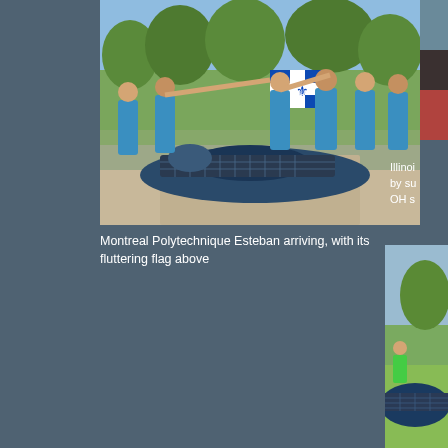[Figure (photo): Montreal Polytechnique Esteban solar car arriving, team members in blue shirts running alongside holding Quebec flag above the car]
Montreal Polytechnique Esteban arriving, with its fluttering flag above
[Figure (photo): Partial photo at top right, partially cropped]
Illinoi by su OH s
[Figure (photo): Bottom right partial photo showing solar car on grass with people nearby]